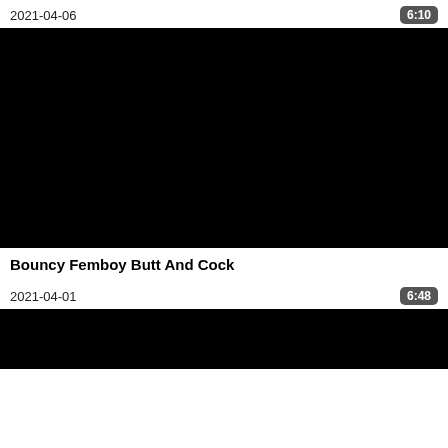2021-04-06
6:10
[Figure (photo): Black video thumbnail placeholder]
Bouncy Femboy Butt And Cock
2021-04-01
6:48
[Figure (photo): Black video thumbnail placeholder (partial)]